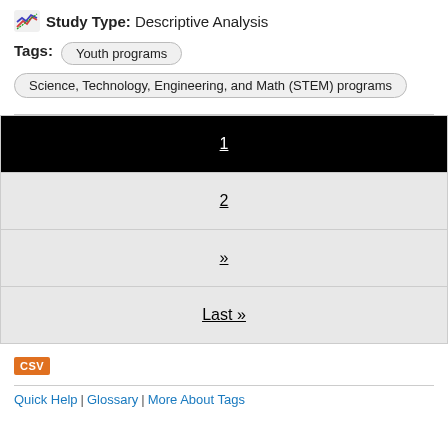Study Type: Descriptive Analysis
Tags: Youth programs
Science, Technology, Engineering, and Math (STEM) programs
| 1 |
| 2 |
| » |
| Last » |
[Figure (other): CSV download button]
Quick Help | Glossary | More About Tags